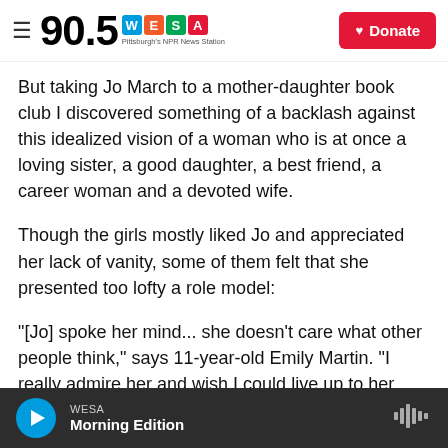90.5 WESA Pittsburgh's NPR News Station | Donate
But taking Jo March to a mother-daughter book club I discovered something of a backlash against this idealized vision of a woman who is at once a loving sister, a good daughter, a best friend, a career woman and a devoted wife.
Though the girls mostly liked Jo and appreciated her lack of vanity, some of them felt that she presented too lofty a role model:
"[Jo] spoke her mind... she doesn't care what other people think," says 11-year-old Emily Martin. "I really admire her and wish I could live up to her
WESA Morning Edition